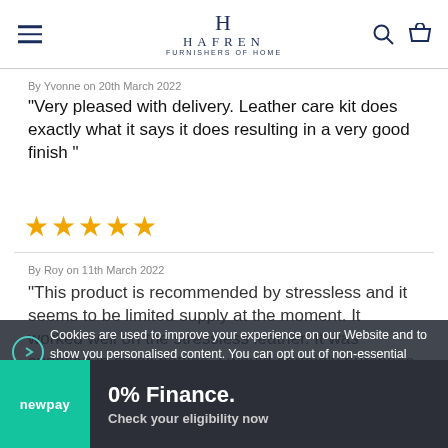HAFREN
By Yvonne on 20th March 2022
"Very pleased with delivery. Leather care kit does exactly what it says it does resulting in a very good finish "
[Figure (other): Five gold star rating icons]
By Roy on 11th March 2022
"This product is recommended by stressless and it seems to be limited supply at the moment. It worked well on the stressless leather. It was supplied in small bottles. I would certainly purchase from them again."
Cookies are used to improve your experience on our Website and to show you personalised content. You can opt out of non-essential Cookies by clicking here.
0% Finance. Check your eligibility now